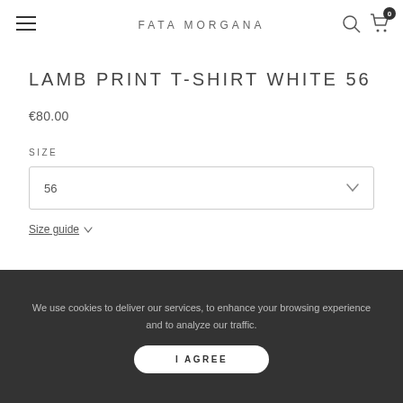FATA MORGANA
LAMB PRINT T-SHIRT WHITE 56
€80.00
SIZE
56
Size guide
We use cookies to deliver our services, to enhance your browsing experience and to analyze our traffic.
I AGREE